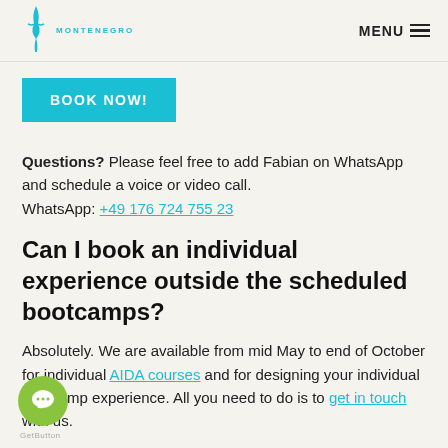MONTENEGRO  MENU
BOOK NOW!
Questions? Please feel free to add Fabian on WhatsApp and schedule a voice or video call. WhatsApp: +49 176 724 755 23
Can I book an individual experience outside the scheduled bootcamps?
Absolutely. We are available from mid May to end of October for individual AIDA courses and for designing your individual bootcamp experience. All you need to do is to get in touch with us.